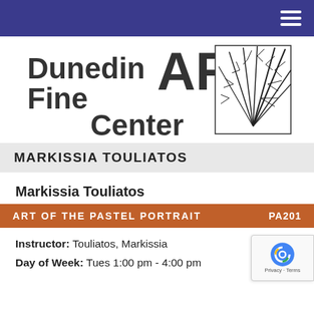Navigation bar with hamburger menu
[Figure (logo): Dunedin Fine ART Center logo with stylized palm frond illustration]
MARKISSIA TOULIATOS
Markissia Touliatos
ART OF THE PASTEL PORTRAIT    PA201
Instructor: Touliatos, Markissia
Day of Week: Tues 1:00 pm - 4:00 pm